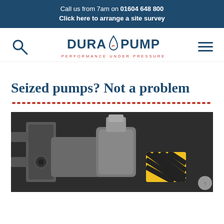Call us from 7am on 01604 648 800
Click here to arrange a site survey
[Figure (logo): DuraPump logo with water droplet icon and tagline 'PERFORMANCE UNDER PRESSURE']
Seized pumps? Not a problem
[Figure (photo): Industrial pump machinery photographed in a facility, showing metal pipes, valves, and yellow-black hazard striped components]